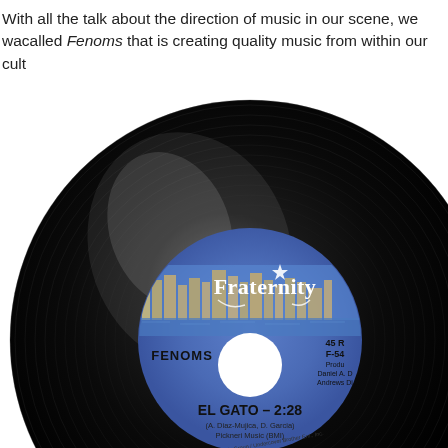With all the talk about the direction of music in our scene, we wanted to spotlight a group called Fenoms that is creating quality music from within our culture.
[Figure (photo): A vinyl 45 RPM record on a Fraternity Music Group label, showing 'FENOMS' and 'EL GATO – 2:28', with credits including A. Diaz-Mujica, D. Garcia, Pickneri Music (BMI), catalog number F-541, produced by Daniel A. and Andrews Di. The label features a blue design with a city skyline (Cincinnati) and the Fraternity logo.]